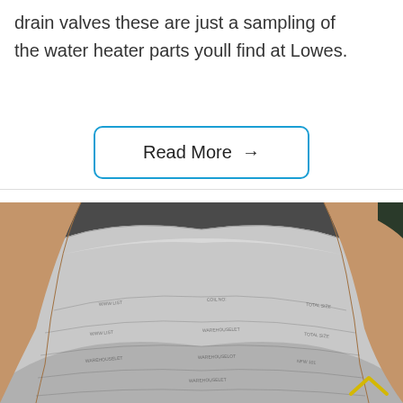drain valves these are just a sampling of the water heater parts youll find at Lowes.
Read More →
[Figure (photo): Photo of a large curved metallic sheet or coil material with printed markings, partially wrapped in brown paper packaging, resting on a dark surface.]